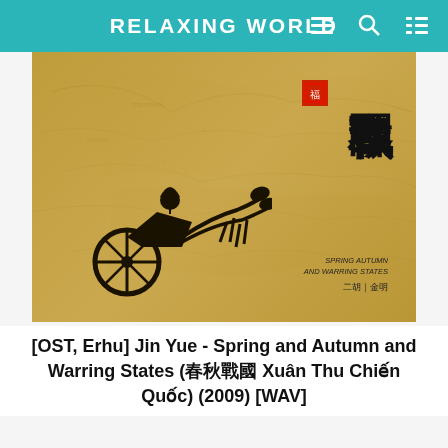RELAXING WORLD
[Figure (illustration): Album cover for Spring Autumn and Warring States (春秋戰國) by Jin Yue. Gold/tan background with map imagery, large Chinese characters 春秋戰國 on right, black silhouette of a horse-drawn chariot on lower left, red seal stamp. Text reads SPRING AUTUMN AND WARRING STATES and 二胡|金明.]
[OST, Erhu] Jin Yue - Spring and Autumn and Warring States (春秋戰國 Xuân Thu Chiến Quốc) (2009) [WAV]
STATS
| Total Posts: 3356 | Pages | 6 067 169 |
|  | Online | 4 |
| Comments: 2946 | Vis. today | 138 |